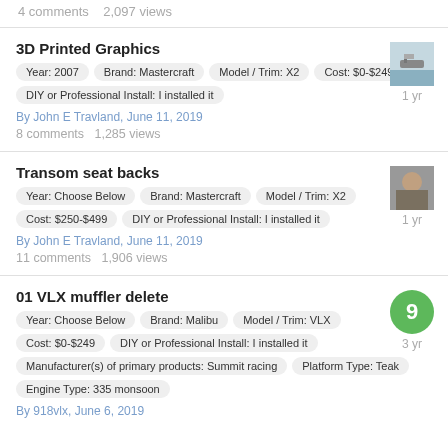4 comments   2,097 views
3D Printed Graphics
Year: 2007   Brand: Mastercraft   Model / Trim: X2   Cost: $0-$249   DIY or Professional Install: I installed it
By John E Travland, June 11, 2019
8 comments   1,285 views
Transom seat backs
Year: Choose Below   Brand: Mastercraft   Model / Trim: X2   Cost: $250-$499   DIY or Professional Install: I installed it
By John E Travland, June 11, 2019
11 comments   1,906 views
01 VLX muffler delete
Year: Choose Below   Brand: Malibu   Model / Trim: VLX   Cost: $0-$249   DIY or Professional Install: I installed it   Manufacturer(s) of primary products: Summit racing   Platform Type: Teak   Engine Type: 335 monsoon
By 918vlx, June 6, 2019